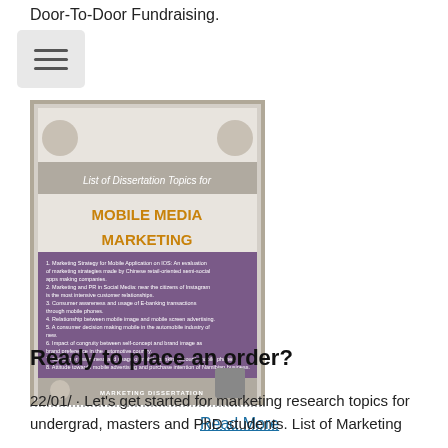Door-To-Door Fundraising.
[Figure (illustration): Book cover image titled 'List of Dissertation Topics for MOBILE MEDIA MARKETING' with a list of 13 dissertation topics on a purple background, with decorative border and Marketing Dissertation logo at bottom.]
Read More
Ready to place an order?
22/01/ · Let's get started for marketing research topics for undergrad, masters and PhD students. List of Marketing